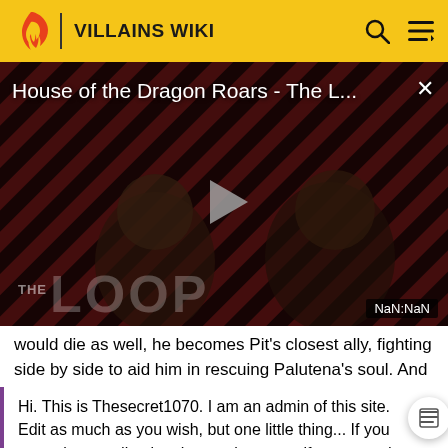VILLAINS WIKI
[Figure (screenshot): Video player showing 'House of the Dragon Roars - The L...' with a play button overlay, diagonal red/black stripe background, THE LOOP watermark, two partially visible figures, and NaN:NaN timestamp. A close (x) button is in the top right.]
would die as well, he becomes Pit's closest ally, fighting side by side to aid him in rescuing Palutena's soul. And
Hi. This is Thesecret1070. I am an admin of this site. Edit as much as you wish, but one little thing... If you are going to edit a lot, then make yourself a user and login. Other than that, enjoy Villains Wiki!!!